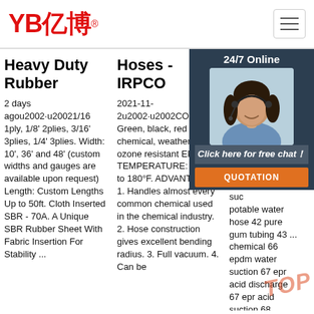[Figure (logo): YB亿博 logo in red with registered trademark symbol, and hamburger menu icon]
Heavy Duty Rubber
2 days agou2002·u20021/16 1ply, 1/8' 2plies, 3/16' 3plies, 1/4' 3plies. Width: 10', 36' and 48' (custom widths and gauges are available upon request) Length: Custom Lengths Up to 50ft. Cloth Inserted SBR - 70A. A Unique SBR Rubber Sheet With Fabric Insertion For Stability ...
Hoses - IRPCO
2021-11-2u2002·u2002COVER: Green, black, red or blue, chemical, weather & ozone resistant EPDM. TEMPERATURE: -40°F to 180°F. ADVANTAGES: 1. Handles almost every common chemical used in the chemical industry. 2. Hose construction gives excellent bending radius. 3. Full vacuum. 4. Can be
IND HC PR CA Bu
202 21u suc foo suc potable water hose 42 pure gum tubing 43 ... chemical 66 epdm water suction 67 epr acid discharge 67 epr acid suction 68 florlite vhmw 68
[Figure (photo): 24/7 Online chat widget with female customer service agent wearing headset, Click here for free chat button, and QUOTATION orange button]